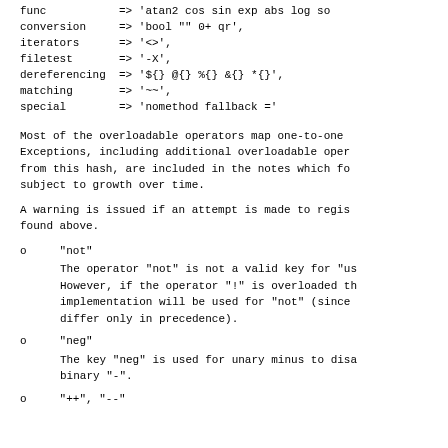func           => 'atan2 cos sin exp abs log so
conversion     => 'bool "" 0+ qr',
iterators      => '<>',
filetest       => '-X',
dereferencing  => '${} @{} %{} &{} *{}',
matching       => '~~',
special        => 'nomethod fallback ='
Most of the overloadable operators map one-to-one
Exceptions, including additional overloadable oper
from this hash, are included in the notes which fo
subject to growth over time.
A warning is issued if an attempt is made to regis
found above.
o    "not"
The operator "not" is not a valid key for "us
However, if the operator "!" is overloaded th
implementation will be used for "not" (since
differ only in precedence).
o    "neg"
The key "neg" is used for unary minus to disa
binary "-".
o    "++", "--"